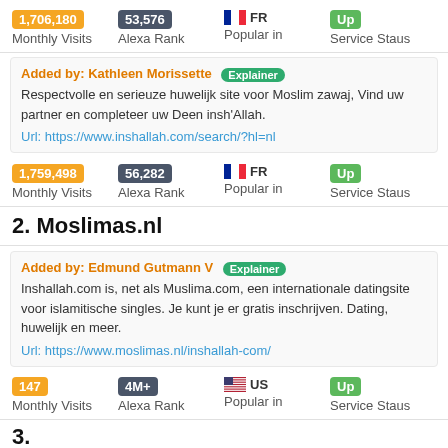1,706,180 Monthly Visits | 53,576 Alexa Rank | FR Popular in | Up Service Staus
Added by: Kathleen Morissette [Explainer] Respectvolle en serieuze huwelijk site voor Moslim zawaj, Vind uw partner en completeer uw Deen insh'Allah. Url: https://www.inshallah.com/search/?hl=nl
1,759,498 Monthly Visits | 56,282 Alexa Rank | FR Popular in | Up Service Staus
2. Moslimas.nl
Added by: Edmund Gutmann V [Explainer] Inshallah.com is, net als Muslima.com, een internationale datingsite voor islamitische singles. Je kunt je er gratis inschrijven. Dating, huwelijk en meer. Url: https://www.moslimas.nl/inshallah-com/
147 Monthly Visits | 4M+ Alexa Rank | US Popular in | Up Service Staus
3.